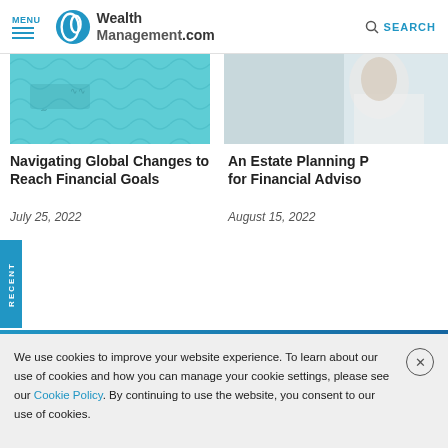MENU | WealthManagement.com | SEARCH
[Figure (photo): Teal/turquoise water-like texture image for article thumbnail]
Navigating Global Changes to Reach Financial Goals
July 25, 2022
[Figure (photo): Photo showing a person in white clothing, article thumbnail]
An Estate Planning for Financial Adviso
August 15, 2022
RECENT
We use cookies to improve your website experience. To learn about our use of cookies and how you can manage your cookie settings, please see our Cookie Policy. By continuing to use the website, you consent to our use of cookies.